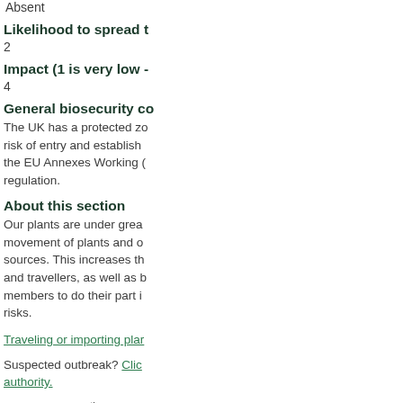Absent
Likelihood to spread t
2
Impact (1 is very low -
4
General biosecurity co
The UK has a protected zo risk of entry and establish the EU Annexes Working ( regulation.
About this section
Our plants are under grea movement of plants and o sources. This increases th and travellers, as well as b members to do their part i risks.
Traveling or importing plar
Suspected outbreak? Clic authority.
Date updated: 7th March 2